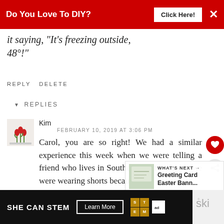[Figure (other): Red advertisement banner at top: 'Do You Love To DIY? Click Here!' with X close button]
it saying, "It's freezing outside, 48°!"
REPLY DELETE
▾ REPLIES
[Figure (logo): Small blog avatar icon with red tulips/flowers]
Kim
FEBRUARY 10, 2019 AT 3:06 PM
Carol, you are so right! We had a similar experience this week when we were telling a friend who lives in Southern California that we were wearing shorts because
[Figure (other): What's Next overlay showing Greeting Card Easter Bann...]
[Figure (other): Bottom ad banner: SHE CAN STEM - Learn More - with STEM and Ad Council logos]